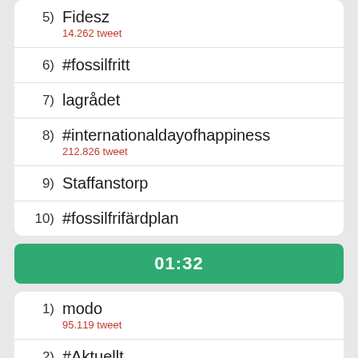5) Fidesz
14.262 tweet
6) #fossilfritt
7) lagrådet
8) #internationaldayofhappiness
212.826 tweet
9) Staffanstorp
10) #fossilfrifärdplan
01:32
1) modo
95.119 tweet
2) #Aktuellt